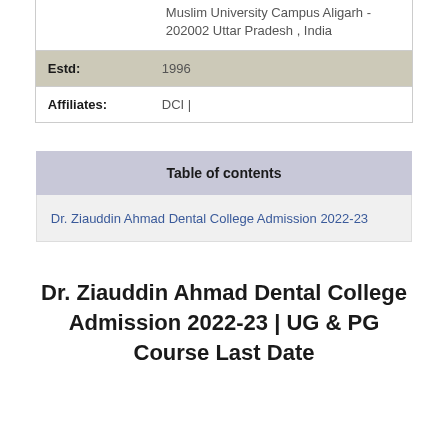Muslim University Campus Aligarh - 202002 Uttar Pradesh , India
| Estd: | 1996 |
| Affiliates: | DCI | |
Table of contents
Dr. Ziauddin Ahmad Dental College Admission 2022-23
Dr. Ziauddin Ahmad Dental College Admission 2022-23 | UG & PG Course Last Date